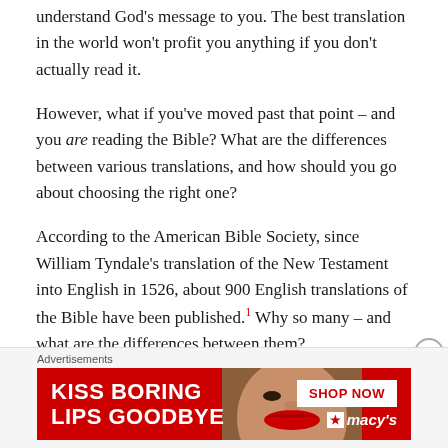understand God's message to you. The best translation in the world won't profit you anything if you don't actually read it.
However, what if you've moved past that point – and you are reading the Bible? What are the differences between various translations, and how should you go about choosing the right one?
According to the American Bible Society, since William Tyndale's translation of the New Testament into English in 1526, about 900 English translations of the Bible have been published.1 Why so many – and what are the differences between them?
Advertisements
[Figure (photo): Advertisement banner for Macy's: red background with bold white text 'KISS BORING LIPS GOODBYE', a photo of a woman's face with red lips in the center, and on the right a white 'SHOP NOW' button and the Macy's logo with star.]